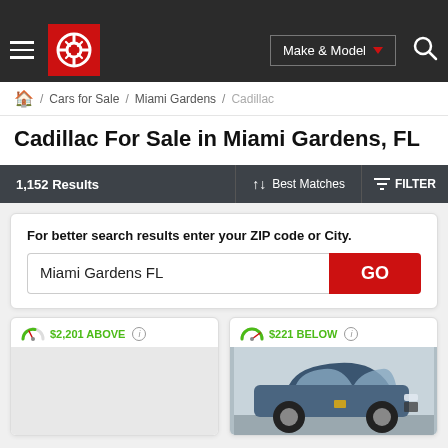[Figure (screenshot): Car Gurus website navigation bar with hamburger menu, red logo, Make & Model dropdown button, and search icon on dark background]
/ Cars for Sale / Miami Gardens / Cadillac
Cadillac For Sale in Miami Gardens, FL
1,152 Results | ↑↓ Best Matches | FILTER
For better search results enter your ZIP code or City.
Miami Gardens FL
$2,201 ABOVE
$221 BELOW
[Figure (photo): Blue Cadillac XT5 SUV shown from front-left angle on dealership lot]